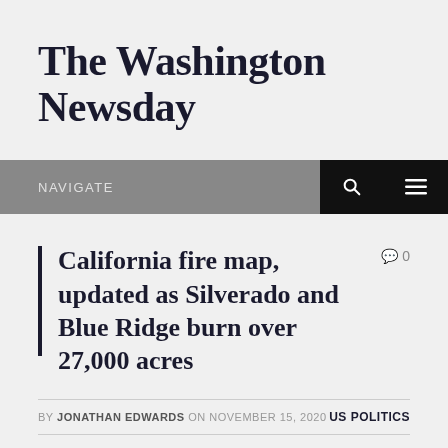The Washington Newsday
NAVIGATE
California fire map, updated as Silverado and Blue Ridge burn over 27,000 acres
BY JONATHAN EDWARDS ON NOVEMBER 15, 2020  US POLITICS